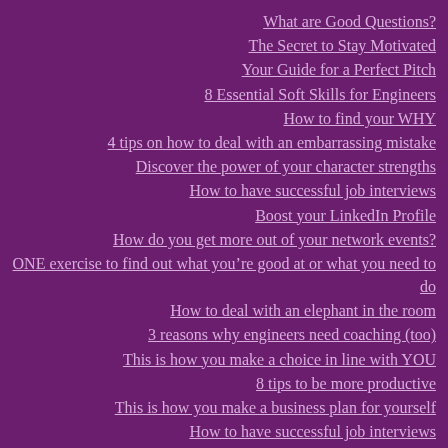What are Good Questions?
The Secret to Stay Motivated
Your Guide for a Perfect Pitch
8 Essential Soft Skills for Engineers
How to find your WHY
4 tips on how to deal with an embarrassing mistake
Discover the power of your character strengths
How to have successful job interviews
Boost your LinkedIn Profile
How do you get more out of your network events?
ONE exercise to find out what you’re good at or what you need to do
How to deal with an elephant in the room
3 reasons why engineers need coaching (too)
This is how you make a choice in line with YOU
8 tips to be more productive
This is how you make a business plan for yourself
How to have successful job interviews